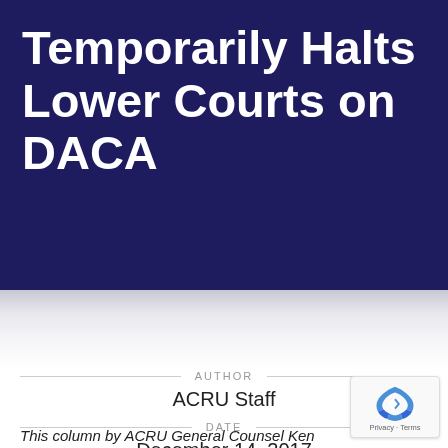Temporarily Halts Lower Courts on DACA
AUTHOR
ACRU Staff
DATE
December 14, 2017
This column by ACRU General Counsel Ken